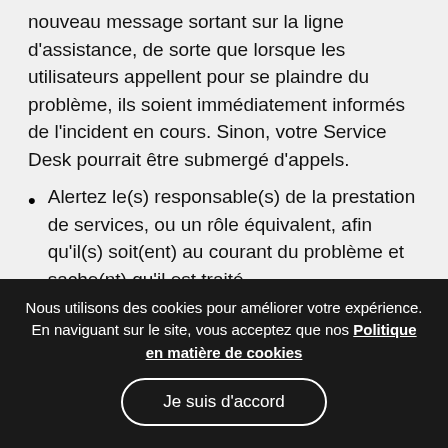nouveau message sortant sur la ligne d'assistance, de sorte que lorsque les utilisateurs appellent pour se plaindre du problème, ils soient immédiatement informés de l'incident en cours. Sinon, votre Service Desk pourrait être submergé d'appels.
Alertez le(s) responsable(s) de la prestation de services, ou un rôle équivalent, afin qu'il(s) soit(ent) au courant du problème et sache(nt) qu'il est traité.
Examinez et diagnostiquez le problème en le décrivant et en le documentant de manière
Nous utilisons des cookies pour améliorer votre expérience. En naviguant sur le site, vous acceptez que nos Politique en matière de cookies
Je suis d'accord